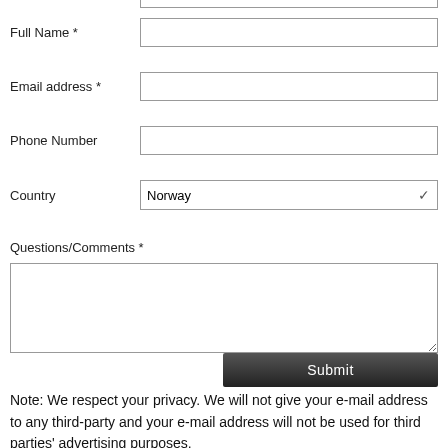Full Name *
Email address *
Phone Number
Country
Questions/Comments *
Submit
Note: We respect your privacy. We will not give your e-mail address to any third-party and your e-mail address will not be used for third parties' advertising purposes.